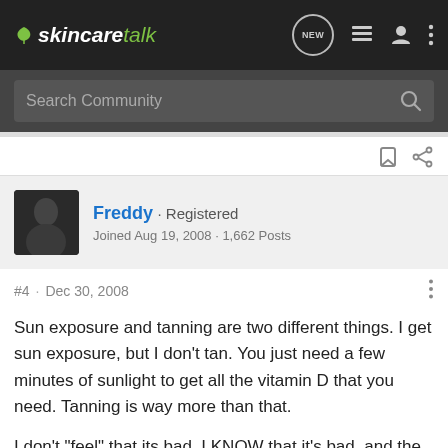skincaretalk
Search Community
Freddy · Registered
Joined Aug 19, 2008 · 1,662 Posts
#4 · Dec 30, 2008
Sun exposure and tanning are two different things. I get sun exposure, but I don't tan. You just need a few minutes of sunlight to get all the vitamin D that you need. Tanning is way more than that.
I don't "feel" that its bad. I KNOW that it's bad, and the skin doesn't need to burn and flake for you to get the negative